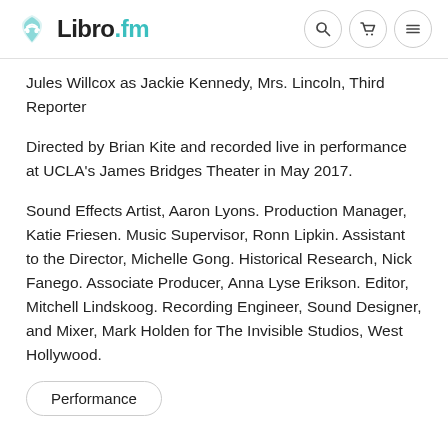Libro.fm
Jules Willcox as Jackie Kennedy, Mrs. Lincoln, Third Reporter
Directed by Brian Kite and recorded live in performance at UCLA's James Bridges Theater in May 2017.
Sound Effects Artist, Aaron Lyons. Production Manager, Katie Friesen. Music Supervisor, Ronn Lipkin. Assistant to the Director, Michelle Gong. Historical Research, Nick Fanego. Associate Producer, Anna Lyse Erikson. Editor, Mitchell Lindskoog. Recording Engineer, Sound Designer, and Mixer, Mark Holden for The Invisible Studios, West Hollywood.
Performance